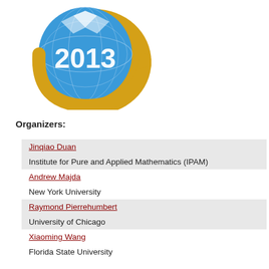[Figure (logo): Conference logo for 2013 with a blue globe and gold crescent/arrow shape, showing '2013' in large white text on the blue circle.]
Organizers:
Jinqiao Duan
Institute for Pure and Applied Mathematics (IPAM)
Andrew Majda
New York University
Raymond Pierrehumbert
University of Chicago
Xiaoming Wang
Florida State University